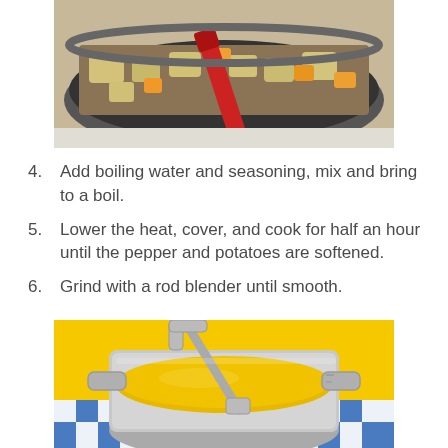[Figure (photo): A pan on a stove containing chopped vegetables including potatoes and peppers with a red spatula]
4. Add boiling water and seasoning, mix and bring to a boil.
5. Lower the heat, cover, and cook for half an hour until the pepper and potatoes are softened.
6. Grind with a rod blender until smooth.
[Figure (photo): A stainless steel pot with bright yellow blended soup on a blue and white checkered tablecloth with a yellow background, with a rod blender inside]